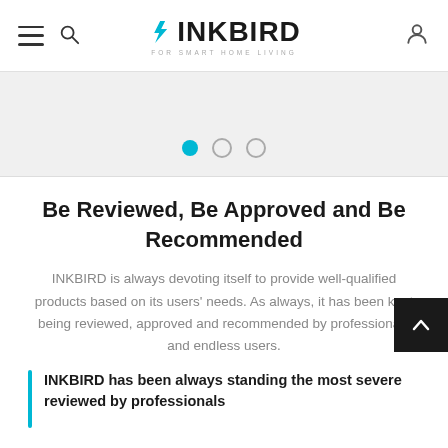INKBIRD – FOR SMART HOME LIVING
[Figure (other): Carousel pagination dots: one filled blue dot and two empty circle dots]
Be Reviewed, Be Approved and Be Recommended
INKBIRD is always devoting itself to provide well-qualified products based on its users' needs. As always, it has been kept being reviewed, approved and recommended by professionals and endless users.
INKBIRD has been always standing the most severe reviewed by professionals